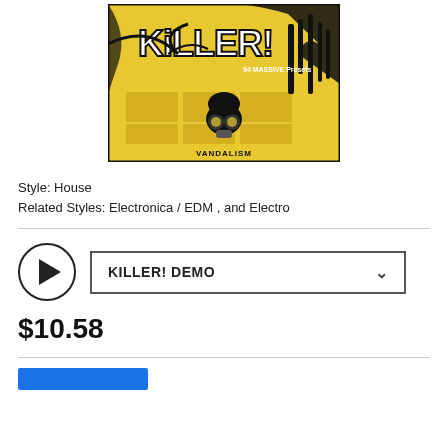[Figure (illustration): Product cover art for 'KILLER!' showing yellow graffiti-style artwork with 'KILLER!' text in large white block letters, '94 MASSIVE Presets' subtitle, black splatter/grunge design elements, a gas mask character, and 'VANDALISM' text at the bottom]
Style: House
Related Styles: Electronica / EDM , and Electro
[Figure (other): Audio player with circular play button and KILLER! DEMO dropdown selector]
$10.58